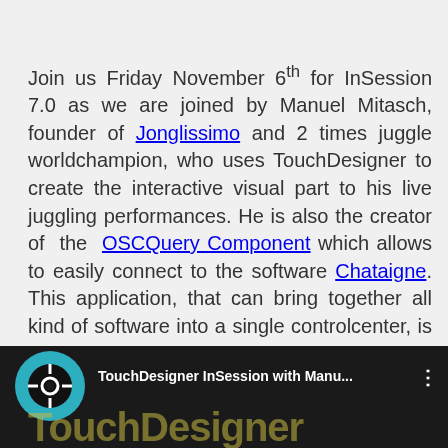Join us Friday November 6th for InSession 7.0 as we are joined by Manuel Mitasch, founder of Jonglissimo and 2 times juggle worldchampion, who uses TouchDesigner to create the interactive visual part to his live juggling performances. He is also the creator of the OSCQuery Component which allows to easily connect to the software Chataigne. This application, that can bring together all kind of software into a single controlcenter, is the work of Ben Kuper who will also be on the stream to introduce the TouchDesigner community to this versitile tool.
[Figure (screenshot): Video thumbnail showing TouchDesigner logo icon on dark background with title 'TouchDesigner InSession with Manu...' and the TouchDesigner watermark text at the bottom]